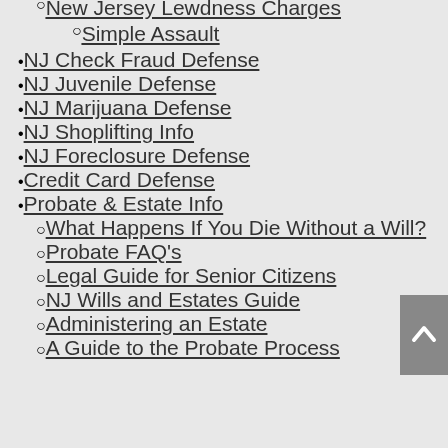New Jersey Lewdness Charges
Simple Assault
NJ Check Fraud Defense
NJ Juvenile Defense
NJ Marijuana Defense
NJ Shoplifting Info
NJ Foreclosure Defense
Credit Card Defense
Probate & Estate Info
What Happens If You Die Without a Will?
Probate FAQ's
Legal Guide for Senior Citizens
NJ Wills and Estates Guide
Administering an Estate
A Guide to the Probate Process